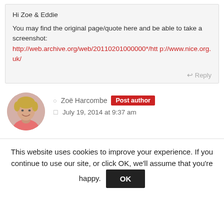Hi Zoe & Eddie
You may find the original page/quote here and be able to take a screenshot: http://web.archive.org/web/20110201000000*/http://www.nice.org.uk/
Reply
[Figure (photo): Circular avatar photo of a smiling blonde woman in a pink top]
Zoë Harcombe  Post author
July 19, 2014 at 9:37 am
This website uses cookies to improve your experience. If you continue to use our site, or click OK, we'll assume that you're happy.  OK